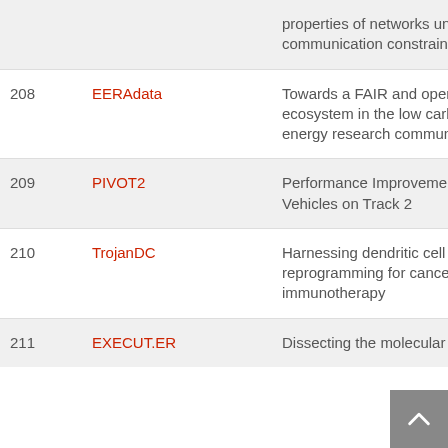| # | Name | Description |
| --- | --- | --- |
|  |  | properties of networks under communication constraints |
| 208 | EERAdata | Towards a FAIR and open data ecosystem in the low carbon energy research community |
| 209 | PIVOT2 | Performance Improvement for Vehicles on Track 2 |
| 210 | TrojanDC | Harnessing dendritic cell reprogramming for cancer immunotherapy |
| 211 | EXECUT.ER | Dissecting the molecular... |